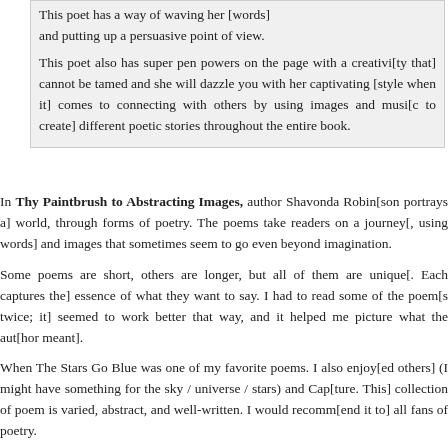This poet has a way of waving her [words] and putting up a persuasive point of view.

This poet also has super pen powers on the page with a creativity that cannot be tamed and she will dazzle you with her captivating [style] when it comes to connecting with others by using images and music to create different poetic stories throughout the entire book.
In Thy Paintbrush to Abstracting Images, author Shavonda Robin[son paints a] world, through forms of poetry. The poems take readers on a journey [of words] and images that sometimes seem to go even beyond imagination.
Some poems are short, others are longer, but all of them are unique [in] the essence of what they want to say. I had to read some of the poem[s twice; it] seemed to work better that way, and it helped me picture what the auth[or meant].
When The Stars Go Blue was one of my favorite poems. I also enjoy[ed ...] (I might have something for the sky / universe / stars) and Capt[ure. This] collection of poem is varied, abstract, and well-written. I would recomm[end it to] all fans of poetry.
FILED UNDER: BOOK TOURS, ENCHANTED BOOK TOURS, POETRY, REVIEWS ♥